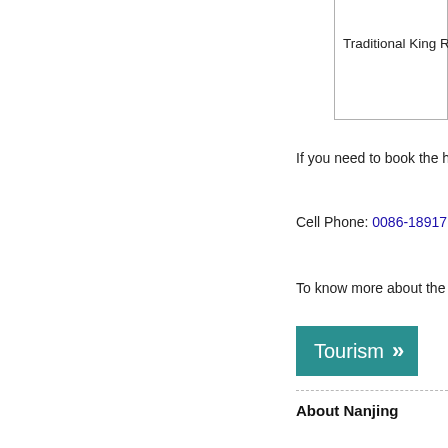[Figure (other): Partial bordered box with text 'Traditional King R' (truncated)]
If you need to book the ho
Cell Phone: 0086-18917 2...
To know more about the h
[Figure (other): Tourism button with arrow]
About Nanjing
Nanjing is the capital of Jia population of 6.55 million in capitals of various Chinese cities of mainland China w attracts thousands of touri
Aug. 12, 2019 is the regis tourism. Here is the touris Sun Yat-sen's Mausoleum